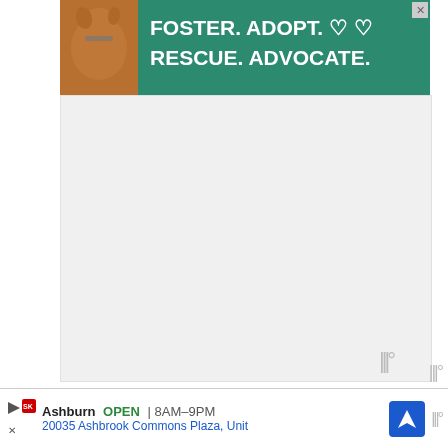[Figure (screenshot): Green advertisement banner: FOSTER. ADOPT. RESCUE. ADVOCATE. with dog image on left]
[Figure (screenshot): Light gray advertisement placeholder area with III logo watermark in bottom right]
1. Arrange beef in the crockpot of the slow cooker. Cover with mushrooms, onion, and garlic.
2. Pour bone broth and apple cider vinegar over the ingredients. Season with salt and pepp...
3. Cover with the lid and turn the slow cooker on. Cook on LOW for 6-8...
[Figure (screenshot): Bottom advertisement bar: Smoothie King, Ashburn OPEN 8AM-9PM, 20035 Ashbrook Commons Plaza, Unit, with navigation icon]
[Figure (screenshot): WHAT'S NEXT overlay: thumbnail image with text Slow Cooker Keto Pot...]